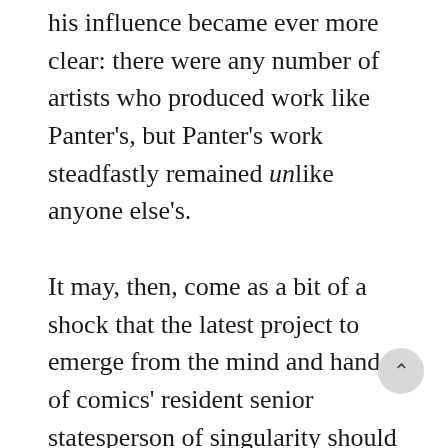his influence became ever more clear: there were any number of artists who produced work like Panter's, but Panter's work steadfastly remained unlike anyone else's.

It may, then, come as a bit of a shock that the latest project to emerge from the mind and hand of comics' resident senior statesperson of singularity should be, at least on the surface, an exercise in nostalgia. Yet, upon first glance, that's precisely what Crashpad (Fantagraphics, 2021) bears all the hallmarks of — a love letter to the hippie-dippie underground comix of yesteryear that openly, even gleefully, pays homage to their ethos in its entirety. A tip of